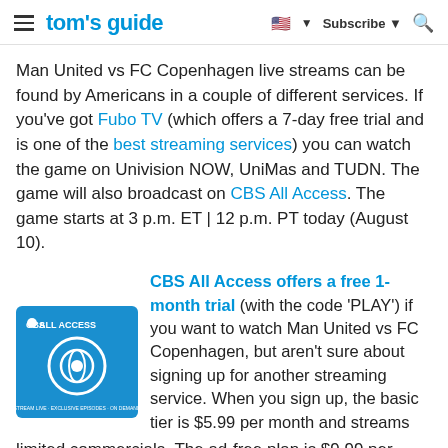tom's guide | Subscribe
Man United vs FC Copenhagen live streams can be found by Americans in a couple of different services. If you've got Fubo TV (which offers a 7-day free trial and is one of the best streaming services) you can watch the game on Univision NOW, UniMas and TUDN. The game will also broadcast on CBS All Access. The game starts at 3 p.m. ET | 12 p.m. PT today (August 10).
[Figure (logo): CBS All Access logo on blue background with CBS eye icon]
CBS All Access offers a free 1-month trial (with the code 'PLAY') if you want to watch Man United vs FC Copenhagen, but aren't sure about signing up for another streaming service. When you sign up, the basic tier is $5.99 per month and streams limited commercials. The ad-free plan is $9.99 per